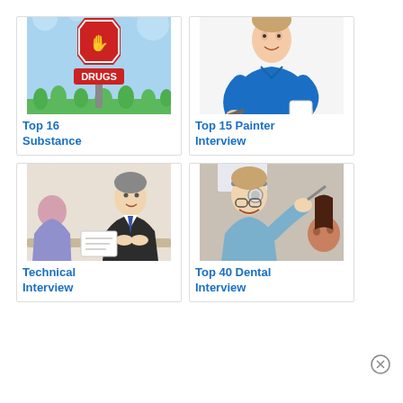[Figure (illustration): Stop Drugs sign — red octagon stop sign with a hand icon and DRUGS text below on a post, green grass background, blue sky with snowflake-like shapes]
Top 16 Substance
[Figure (photo): Man in blue uniform/overalls holding painting tools, white background]
Top 15 Painter Interview
[Figure (photo): Two people in a job interview setting — interviewer in suit and tie speaking with candidate across a table]
Technical Interview
[Figure (photo): Dental professional wearing head mirror examining a patient, smiling, light blue scrubs]
Top 40 Dental Interview